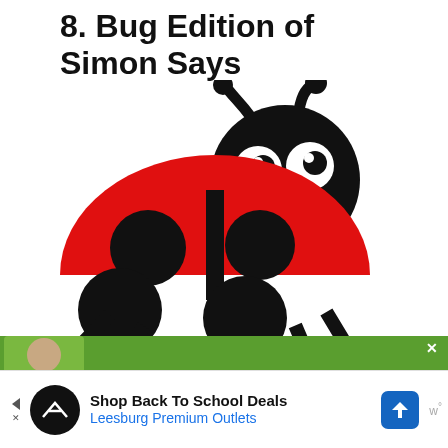8. Bug Edition of Simon Says
[Figure (illustration): Cartoon ladybug illustration with red body, black spots, black head with white cartoon eyes, antennae, and small black legs]
[Figure (screenshot): Advertisement bar: Shop Back To School Deals - Leesburg Premium Outlets with navigation icon]